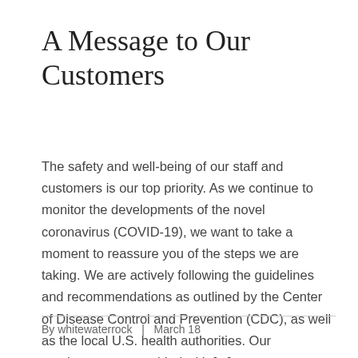A Message to Our Customers
The safety and well-being of our staff and customers is our top priority. As we continue to monitor the developments of the novel coronavirus (COVID-19), we want to take a moment to reassure you of the steps we are taking. We are actively following the guidelines and recommendations as outlined by the Center of Disease Control and Prevention (CDC), as well as the local U.S. health authorities. Our employees are provided with [...]
By whitewaterrock  |  March 18